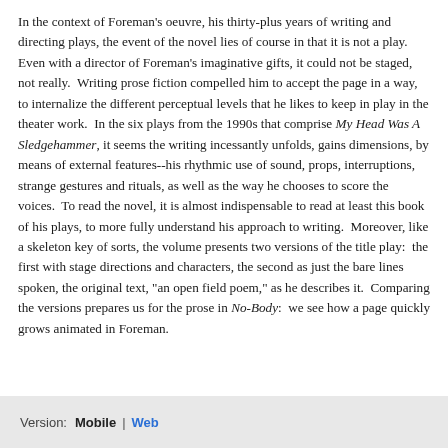In the context of Foreman's oeuvre, his thirty-plus years of writing and directing plays, the event of the novel lies of course in that it is not a play. Even with a director of Foreman's imaginative gifts, it could not be staged, not really. Writing prose fiction compelled him to accept the page in a way, to internalize the different perceptual levels that he likes to keep in play in the theater work. In the six plays from the 1990s that comprise My Head Was A Sledgehammer, it seems the writing incessantly unfolds, gains dimensions, by means of external features--his rhythmic use of sound, props, interruptions, strange gestures and rituals, as well as the way he chooses to score the voices. To read the novel, it is almost indispensable to read at least this book of his plays, to more fully understand his approach to writing. Moreover, like a skeleton key of sorts, the volume presents two versions of the title play: the first with stage directions and characters, the second as just the bare lines spoken, the original text, "an open field poem," as he describes it. Comparing the versions prepares us for the prose in No-Body: we see how a page quickly grows animated in Foreman.
Version:  Mobile  |  Web